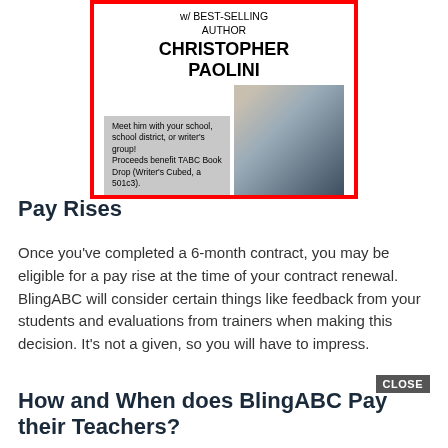[Figure (illustration): Advertisement box with red border featuring text 'w/ BEST-SELLING AUTHOR CHRISTOPHER PAOLINI' with a photo of a bearded man and a caption about meeting him with school or writer's group.]
Pay Rises
Once you've completed a 6-month contract, you may be eligible for a pay rise at the time of your contract renewal. BlingABC will consider certain things like feedback from your students and evaluations from trainers when making this decision. It's not a given, so you will have to impress.
How and When does BlingABC Pay their Teachers?